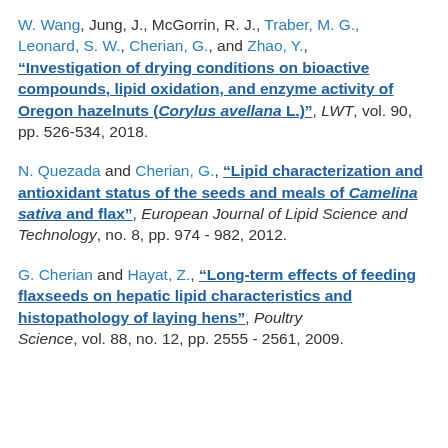W. Wang, Jung, J., McGorrin, R. J., Traber, M. G., Leonard, S. W., Cherian, G., and Zhao, Y., "Investigation of drying conditions on bioactive compounds, lipid oxidation, and enzyme activity of Oregon hazelnuts (Corylus avellana L.)", LWT, vol. 90, pp. 526-534, 2018.
N. Quezada and Cherian, G., "Lipid characterization and antioxidant status of the seeds and meals of Camelina sativa and flax", European Journal of Lipid Science and Technology, no. 8, pp. 974 - 982, 2012.
G. Cherian and Hayat, Z., "Long-term effects of feeding flaxseeds on hepatic lipid characteristics and histopathology of laying hens", Poultry Science, vol. 88, no. 12, pp. 2555 - 2561, 2009.